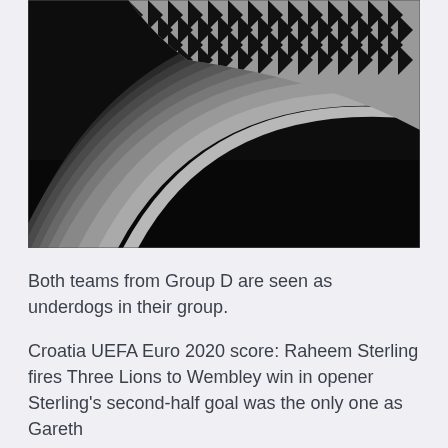[Figure (photo): Black and white abstract architectural photograph showing curved, layered metallic or concrete fins/panels with a wave-like pattern. The upper portion features a checkered or triangular texture in contrasting black and white, while the lower portion fades to dark black.]
Both teams from Group D are seen as underdogs in their group.
Croatia UEFA Euro 2020 score: Raheem Sterling fires Three Lions to Wembley win in opener Sterling's second-half goal was the only one as Gareth